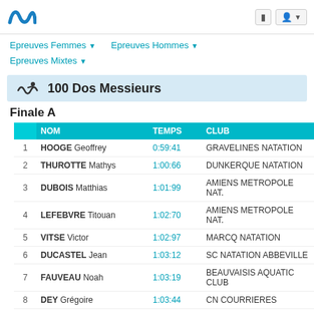Nageur.com navigation header with logo, Epreuves Femmes, Epreuves Hommes, Epreuves Mixtes
100 Dos Messieurs
Finale A
|  | NOM | TEMPS | CLUB |
| --- | --- | --- | --- |
| 1 | HOOGE Geoffrey | 0:59:41 | GRAVELINES NATATION |
| 2 | THUROTTE Mathys | 1:00:66 | DUNKERQUE NATATION |
| 3 | DUBOIS Matthias | 1:01:99 | AMIENS METROPOLE NAT. |
| 4 | LEFEBVRE Titouan | 1:02:70 | AMIENS METROPOLE NAT. |
| 5 | VITSE Victor | 1:02:97 | MARCQ NATATION |
| 6 | DUCASTEL Jean | 1:03:12 | SC NATATION ABBEVILLE |
| 7 | FAUVEAU Noah | 1:03:19 | BEAUVAISIS AQUATIC CLUB |
| 8 | DEY Grégoire | 1:03:44 | CN COURRIERES |
| 9 | GHYS Rémi | 1:03:76 | DAUPHINS ST-OMER |